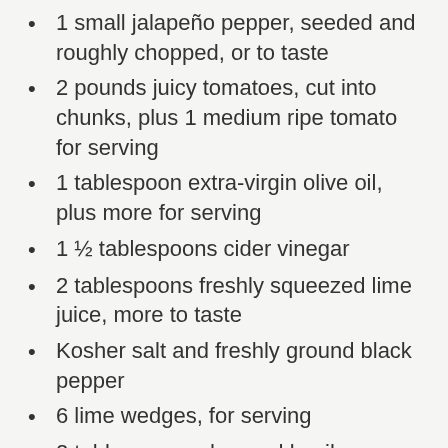1 small jalapeño pepper, seeded and roughly chopped, or to taste
2 pounds juicy tomatoes, cut into chunks, plus 1 medium ripe tomato for serving
1 tablespoon extra-virgin olive oil, plus more for serving
1 ½ tablespoons cider vinegar
2 tablespoons freshly squeezed lime juice, more to taste
Kosher salt and freshly ground black pepper
6 lime wedges, for serving
2 tablespoons chopped basil or